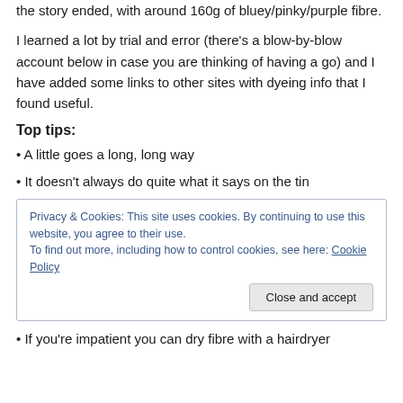the story ended, with around 160g of bluey/pinky/purple fibre.
I learned a lot by trial and error (there's a blow-by-blow account below in case you are thinking of having a go) and I have added some links to other sites with dyeing info that I found useful.
Top tips:
• A little goes a long, long way
• It doesn't always do quite what it says on the tin
Privacy & Cookies: This site uses cookies. By continuing to use this website, you agree to their use. To find out more, including how to control cookies, see here: Cookie Policy
• If you're impatient you can dry fibre with a hairdryer